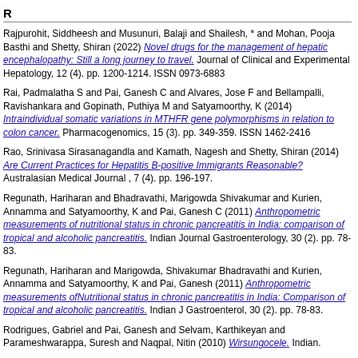R
Rajpurohit, Siddheesh and Musunuri, Balaji and Shailesh, * and Mohan, Pooja Basthi and Shetty, Shiran (2022) Novel drugs for the management of hepatic encephalopathy: Still a long journey to travel. Journal of Clinical and Experimental Hepatology, 12 (4). pp. 1200-1214. ISSN 0973-6883
Rai, Padmalatha S and Pai, Ganesh C and Alvares, Jose F and Bellampalli, Ravishankara and Gopinath, Puthiya M and Satyamoorthy, K (2014) Intraindividual somatic variations in MTHFR gene polymorphisms in relation to colon cancer. Pharmacogenomics, 15 (3). pp. 349-359. ISSN 1462-2416
Rao, Srinivasa Sirasanagandla and Kamath, Nagesh and Shetty, Shiran (2014) Are Current Practices for Hepatitis B-positive Immigrants Reasonable? Australasian Medical Journal , 7 (4). pp. 196-197.
Regunath, Hariharan and Bhadravathi, Marigowda Shivakumar and Kurien, Annamma and Satyamoorthy, K and Pai, Ganesh C (2011) Anthropometric measurements of nutritional status in chronic pancreatitis in India: comparison of tropical and alcoholic pancreatitis. Indian Journal Gastroenterology, 30 (2). pp. 78-83.
Regunath, Hariharan and Marigowda, Shivakumar Bhadravathi and Kurien, Annamma and Satyamoorthy, K and Pai, Ganesh (2011) Anthropometric measurements ofNutritional status in chronic pancreatitis in India: Comparison of tropical and alcoholic pancreatitis. Indian J Gastroenterol, 30 (2). pp. 78-83.
Rodrigues, Gabriel and Pai, Ganesh and Selvam, Karthikeyan and Parameshwarappa, Suresh and Naqpal, Nitin (2010) Wirsungocele. Indian.